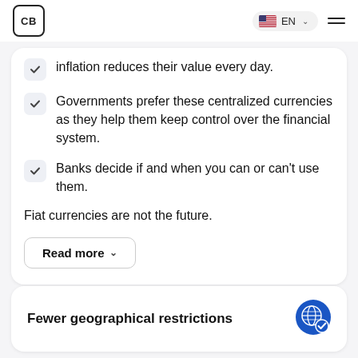CB | EN
inflation reduces their value every day.
Governments prefer these centralized currencies as they help them keep control over the financial system.
Banks decide if and when you can or can't use them.
Fiat currencies are not the future.
Read more
Fewer geographical restrictions